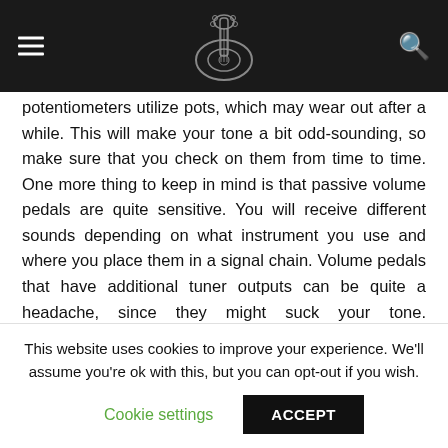[Navigation bar with hamburger menu, guitar logo, and search icon]
potentiometers utilize pots, which may wear out after a while. This will make your tone a bit odd-sounding, so make sure that you check on them from time to time. One more thing to keep in mind is that passive volume pedals are quite sensitive. You will receive different sounds depending on what instrument you use and where you place them in a signal chain. Volume pedals that have additional tuner outputs can be quite a headache, since they might suck your tone. Nevertheless, most of the volume pedals on the market rely on potentiometers and are passive in nature. They will work great provided that you use them correctly.
Active Volume Pedals operate using power supplies, such as insertable batteries or adapters. They usually rely on electro-
This website uses cookies to improve your experience. We'll assume you're ok with this, but you can opt-out if you wish.
Cookie settings   ACCEPT